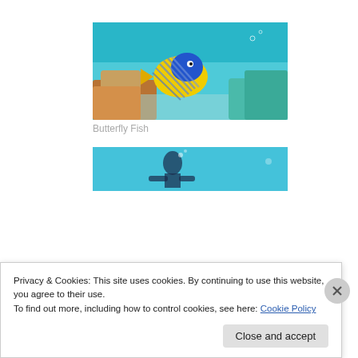[Figure (photo): Underwater photo of a angelfish (butterfly fish) with yellow, blue, and striped markings swimming near a coral reef with turquoise water.]
Butterfly Fish
[Figure (photo): Partial underwater photo showing a diver silhouette in blue water, partially obscured by cookie banner.]
Privacy & Cookies: This site uses cookies. By continuing to use this website, you agree to their use.
To find out more, including how to control cookies, see here: Cookie Policy
Close and accept